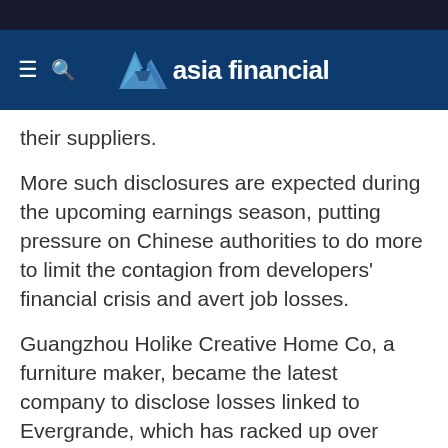asia financial
their suppliers.
More such disclosures are expected during the upcoming earnings season, putting pressure on Chinese authorities to do more to limit the contagion from developers' financial crisis and avert job losses.
Guangzhou Holike Creative Home Co, a furniture maker, became the latest company to disclose losses linked to Evergrande, which has racked up over $300 billion in debt, including 200 billion yuan ($31.44 billion) owed to suppliers via commercial paper.